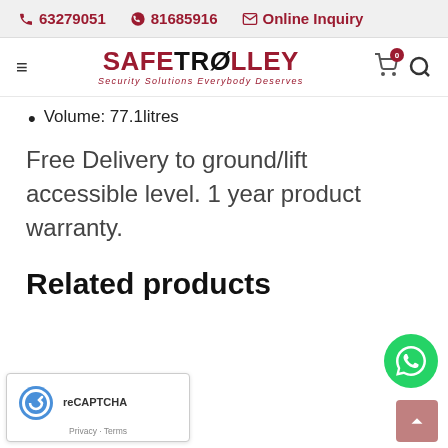63279051  81685916  Online Inquiry
[Figure (logo): SafeTrolley logo with text: SAFETROLLEY Security Solutions Everybody Deserves]
Volume: 77.1litres
Free Delivery to ground/lift accessible level. 1 year product warranty.
Related products